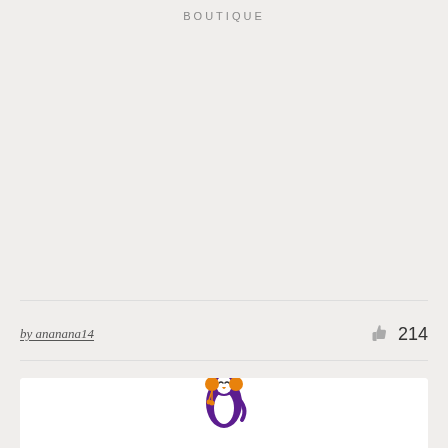BOUTIQUE
by ananana14
214
[Figure (logo): A purple penguin wearing orange earmuffs and a purple hat, with a white belly and orange beak, tilting its head back. Below the penguin are stylized purple cursive letters beginning with 'B'. This is a boutique logo illustration.]